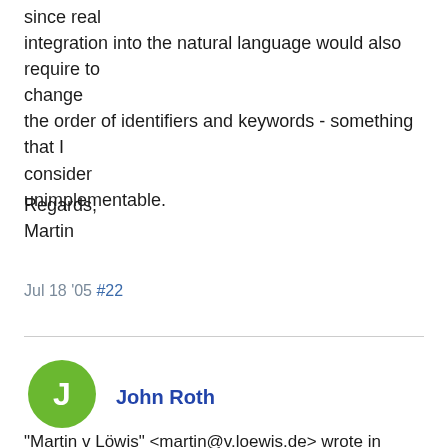since real integration into the natural language would also require to change the order of identifiers and keywords - something that I consider unimplementable.
Regards,
Martin
Jul 18 '05 #22
John Roth
"Martin v Löwis" <martin@v.loewis.de> wrote in message